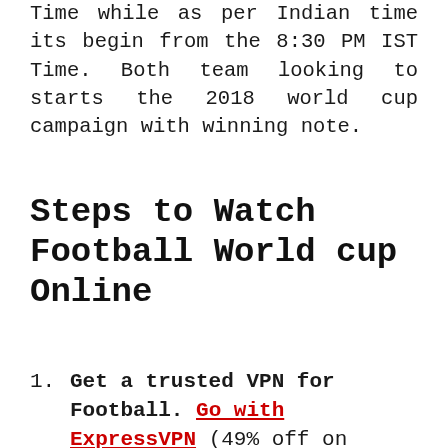Time while as per Indian time its begin from the 8:30 PM IST Time. Both team looking to starts the 2018 world cup campaign with winning note.
Steps to Watch Football World cup Online
Get a trusted VPN for Football. Go with ExpressVPN (49% off on annual plan)